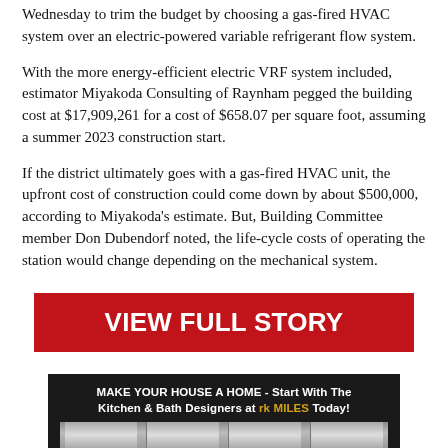Wednesday to trim the budget by choosing a gas-fired HVAC system over an electric-powered variable refrigerant flow system.
With the more energy-efficient electric VRF system included, estimator Miyakoda Consulting of Raynham pegged the building cost at $17,909,261 for a cost of $658.07 per square foot, assuming a summer 2023 construction start.
If the district ultimately goes with a gas-fired HVAC unit, the upfront cost of construction could come down by about $500,000, according to Miyakoda's estimate. But, Building Committee member Don Dubendorf noted, the life-cycle costs of operating the station would change depending on the mechanical system.
[Figure (other): Red button with white bold text reading VIEW FULL STORY]
[Figure (other): Advertisement banner: MAKE YOUR HOUSE A HOME - Start With The Kitchen & Bath Designers at rk MILES Today! with dark background and image strip at bottom]